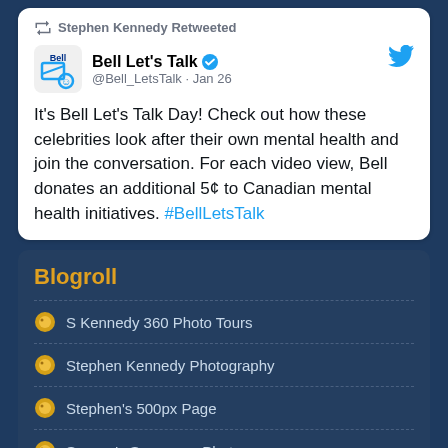Stephen Kennedy Retweeted
Bell Let's Talk @Bell_LetsTalk · Jan 26
It's Bell Let's Talk Day! Check out how these celebrities look after their own mental health and join the conversation. For each video view, Bell donates an additional 5¢ to Canadian mental health initiatives. #BellLetsTalk
Blogroll
S Kennedy 360 Photo Tours
Stephen Kennedy Photography
Stephen's 500px Page
Sysguy's Smugmug Photos
Sysguy's Flickr photos